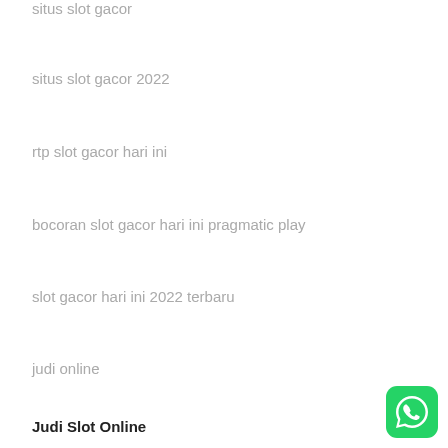situs slot gacor
situs slot gacor 2022
rtp slot gacor hari ini
bocoran slot gacor hari ini pragmatic play
slot gacor hari ini 2022 terbaru
judi online
Judi Slot Online
[Figure (logo): WhatsApp green icon button in bottom right corner]